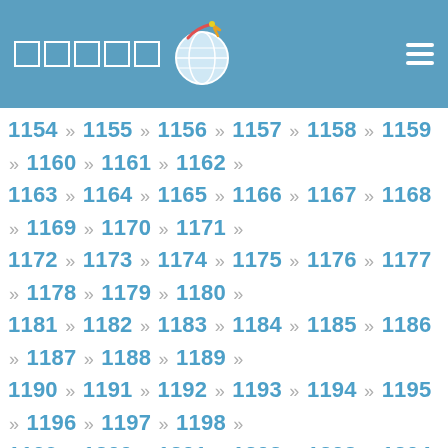Navigation header with logo and menu icon
1154 » 1155 » 1156 » 1157 » 1158 » 1159 » 1160 » 1161 » 1162 » 1163 » 1164 » 1165 » 1166 » 1167 » 1168 » 1169 » 1170 » 1171 » 1172 » 1173 » 1174 » 1175 » 1176 » 1177 » 1178 » 1179 » 1180 » 1181 » 1182 » 1183 » 1184 » 1185 » 1186 » 1187 » 1188 » 1189 » 1190 » 1191 » 1192 » 1193 » 1194 » 1195 » 1196 » 1197 » 1198 » 1199 » 1200 » 1201 » 1202 » 1203 » 1204 » 1205 » 1206 » 1207 » 1208 » 1209 » 1210 » 1211 » 1212 » 1213 » 1214 » 1215 » 1216 » 1217 » 1218 » 1219 » 1220 » 1221 » 1222 » 1223 » 1224 » 1225 » 1226 » 1227 » 1228 » 1229 » 1230 » 1231 » 1232 » 1233 » 1234 » 1235 » 1236 » 1237 » 1238 » 1239 » 1240 » 1241 » 1242 » 1243 » 1244 » 1245 » 1246 » 1247 » 1248 » 1249 » 1250 » 1251 » 1252 » 1253 » 1254 » 1255 » 1256 » 1257 » 1258 » 1259 » 1260 » 1261 » 1262 » 1263 » 1264 » 1265 » 1266 » 1267 » 1268 » 1269 » 1270 » 1271 » 1272 » 1273 » 1274 » 1275 » 1276 » 1277 » 1278 » 1279 » 1280 » 1281 » 1282 » 1283 » 1284 » 1285 » 1286 » 1287 » 1288 » 1289 » 1290 » 1291 » 1292 » 1293 » 1294 » 1295 » 1296 » 1297 » 1298 » 1299 » 1300 » 1301 » 1302 » 1303 » 1304 » 1305 » 1306 » 1307 » 1308 » 1309 » 1310 » 1311 » 1312 » 1313 » 1314 » 1315 » 1316 » 1317 » 1318 » 1319 » 1320 » 1321 » 1322 » 1323 » 1324 » 1325 » 1326 » 1327 » 1328 » 1329 » 1330 » 1331 » 1332 » 1333 » 1334 » 1335 » 1336 » 1337 » 1338 » 1339 » 1340 » 1341 » 1342